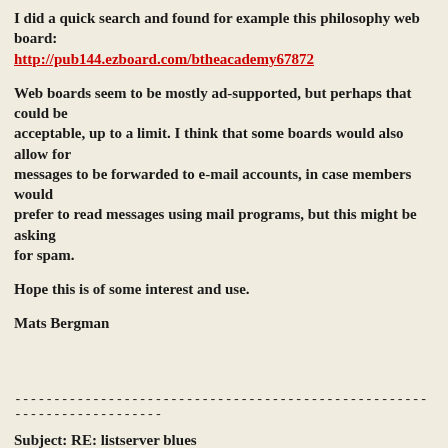I did a quick search and found for example this philosophy web board:
http://pub144.ezboard.com/btheacademy67872
Web boards seem to be mostly ad-supported, but perhaps that could be acceptable, up to a limit. I think that some boards would also allow for messages to be forwarded to e-mail accounts, in case members would prefer to read messages using mail programs, but this might be asking for spam.
Hope this is of some interest and use.
Mats Bergman
------------------------------------------------------------------------
Subject: RE: listserver blues
From: "Joseph Ransdell" <joseph.ransdell[...]yahoo.com>